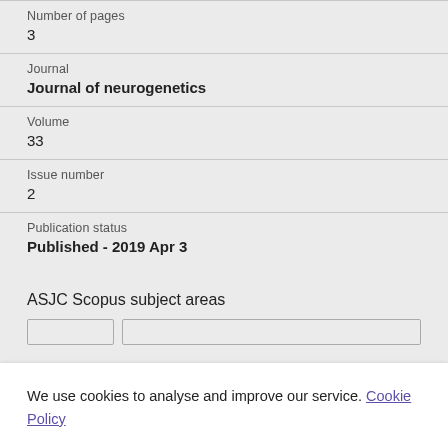Number of pages
3
Journal
Journal of neurogenetics
Volume
33
Issue number
2
Publication status
Published - 2019 Apr 3
ASJC Scopus subject areas
We use cookies to analyse and improve our service. Cookie Policy